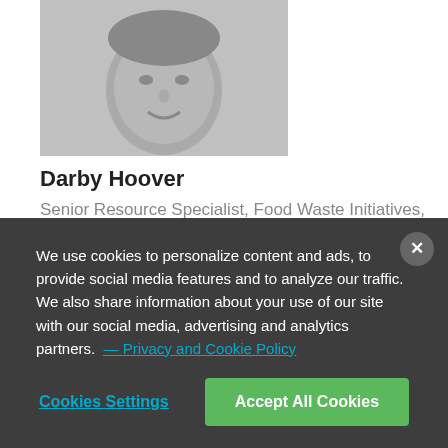[Figure (photo): Black and white headshot photo of Darby Hoover, a man smiling, cropped at top of page]
Darby Hoover
Senior Resource Specialist, Food Waste Initiatives, Health and Food, Healthy People & Thriving Communities Program
[Figure (photo): Partial black and white headshot of a second person, partially visible at bottom of page]
We use cookies to personalize content and ads, to provide social media features and to analyze our traffic. We also share information about your use of our site with our social media, advertising and analytics partners. — Privacy and Cookie Policy
Cookies Settings
Accept All Cookies